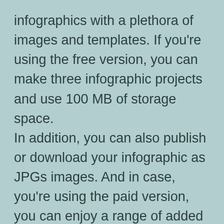infographics with a plethora of images and templates. If you’re using the free version, you can make three infographic projects and use 100 MB of storage space.
In addition, you can also publish or download your infographic as JPGs images. And in case, you’re using the paid version, you can enjoy a range of added benefits and features for just $5 a month.
The paid version allows you access to all charts and infographic widgets, get premium support and 250 MB of storage space.